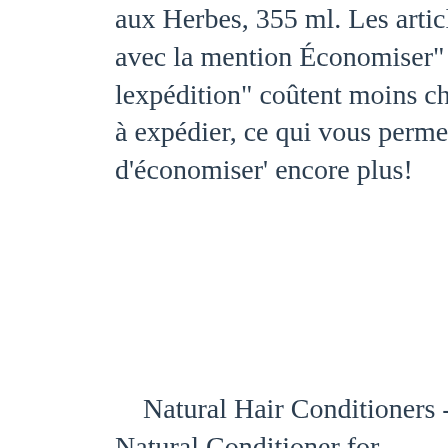Shampoing Herbal 2 en aux Herbes, 355 ml. Les articles avec la mention Économiser" lexpédition" coûtent moins cher à expédier, ce qui vous permet d'économiser' encore plus!
Natural Hair Conditioners - Natural Conditioner for Vigorous Hair Sukin Naturals Canada. Down. Down. Close. Down. Down. Face. Hair. Join Us. Get to know us. Here to help. Shopping with us. Facebook. Instagram. Youtube. Cn Flag. Down. Au Flag. Uk Flag. Us We know that nature